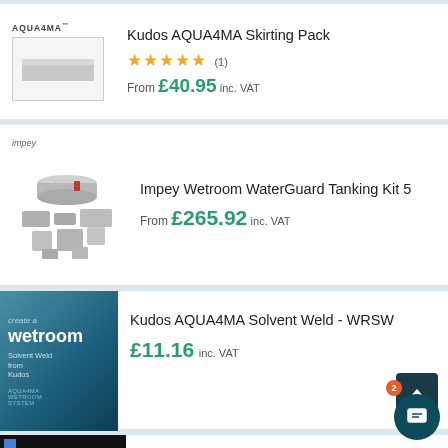[Figure (screenshot): Product listing page showing 4 products with images, titles, ratings and prices]
Kudos AQUA4MA Skirting Pack
★★★★★ (1)
From £40.95 inc. VAT
Impey Wetroom WaterGuard Tanking Kit 5
From £265.92 inc. VAT
Kudos AQUA4MA Solvent Weld - WRSW
£11.16 inc. VAT
Kudos AQUA4MA Wetroom Panels
From £78.00 inc. VAT